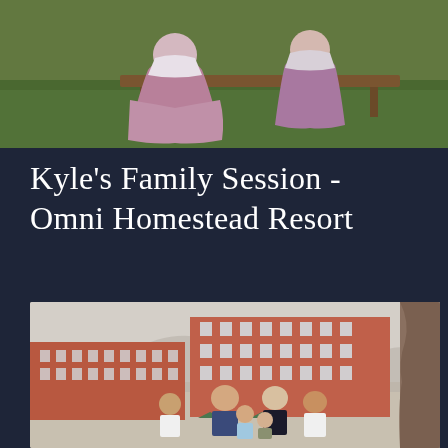[Figure (photo): Top portion of a family/maternity photo session showing women in purple/mauve flowing dresses sitting on a wooden bench on green grass outdoors]
Kyle's Family Session - Omni Homestead Resort
[Figure (photo): Family portrait session at the Omni Homestead Resort - a family of 6 (parents and 4 children) sitting and posing outdoors in front of the large red brick resort building with mountains in the background and a tree trunk on the right side]